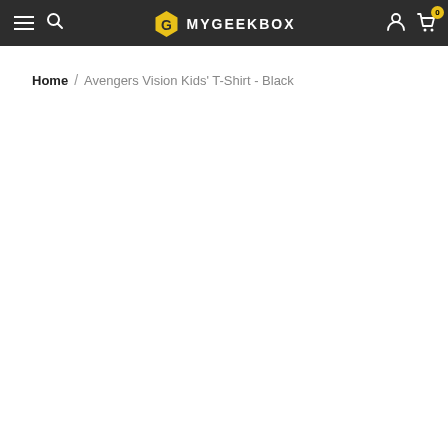MYGEEKBOX — navigation header with hamburger menu, search, logo, user icon, and cart (0 items)
Home / Avengers Vision Kids' T-Shirt - Black